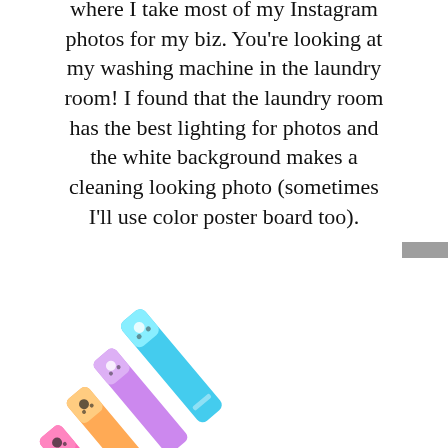where I take most of my Instagram photos for my biz. You're looking at my washing machine in the laundry room! I found that the laundry room has the best lighting for photos and the white background makes a cleaning looking photo (sometimes I'll use color poster board too).
I like to batch my photos to save time.
[Figure (photo): Photo of colorful cat-shaped highlighter markers arranged diagonally, in pink, orange, purple, and blue/teal colors, viewed from above against a white background]